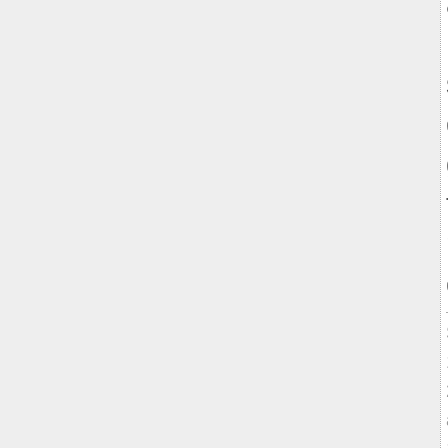an De su do ge the me ou
Se 17 20 at 10 AM in Ha vs. Ko | Pe | Co (8)